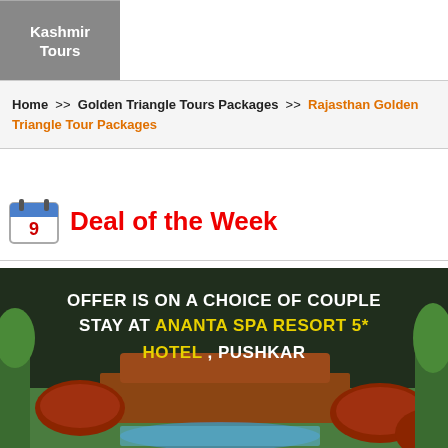Kashmir Tours
Home >> Golden Triangle Tours Packages >> Rajasthan Golden Triangle Tour Packages
Deal of the Week
[Figure (photo): Hotel resort photo with text overlay: OFFER IS ON A CHOICE OF COUPLE STAY AT ANANTA SPA RESORT 5* HOTEL, PUSHKAR]